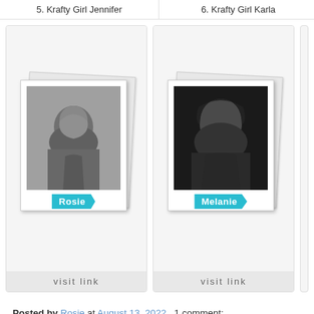5. Krafty Girl Jennifer
6. Krafty Girl Karla
[Figure (photo): Polaroid-style photo of Rosie (black and white portrait) with teal name tag arrow reading 'Rosie']
[Figure (photo): Polaroid-style photo of Melanie (black and white portrait) with teal name tag arrow reading 'Melanie']
visit link
visit link
Posted by Rosie at August 13, 2022   1 comment:
Labels: canadianonlinestampcompany, canadianstampcompany, handma...
Friday, August 12, 2022
Kraftin' Kimmie Stamps August Krafty P... Halloween!